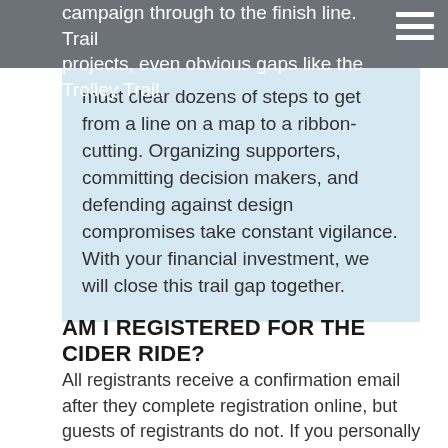campaign through to the finish line. Trail projects, even obvious gaps like the Trolley Trail,
must clear dozens of steps to get from a line on a map to a ribbon-cutting. Organizing supporters, committing decision makers, and defending against design compromises take constant vigilance. With your financial investment, we will close this trail gap together.
AM I REGISTERED FOR THE CIDER RIDE?
All registrants receive a confirmation email after they complete registration online, but guests of registrants do not. If you personally registered but have not received a confirmation, please check your spam, then email events@test.waba.org to confirm your registration. If you are someone's guest, please ask them to forward you the confirmation email, and all